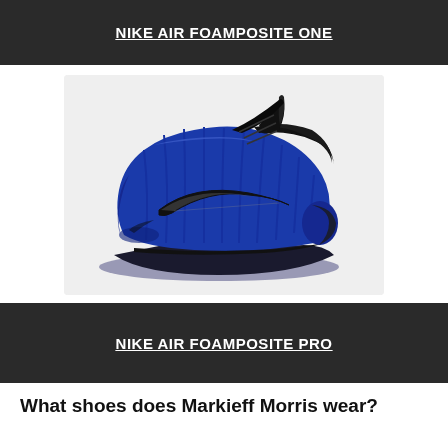NIKE AIR FOAMPOSITE ONE
[Figure (photo): Nike Air Foamposite Pro sneaker in royal blue and black colorway, side profile view on white background]
NIKE AIR FOAMPOSITE PRO
What shoes does Markieff Morris wear?